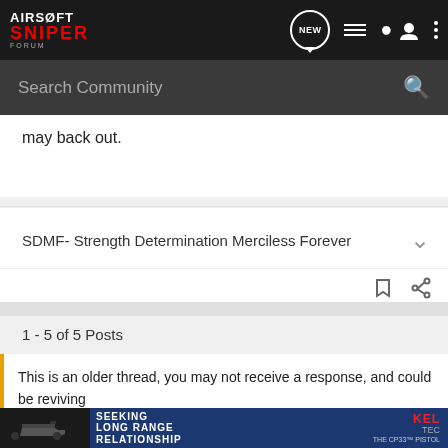AIRSOFT SNIPER FORUM — nav bar with search
may back out.
SDMF- Strength Determination Merciless Forever
1 - 5 of 5 Posts
This is an older thread, you may not receive a response, and could be reviving
[Figure (photo): Kel-Tec CP33 pistol advertisement banner: SEEKING LONG RANGE RELATIONSHIP THE CP33 PISTOL]